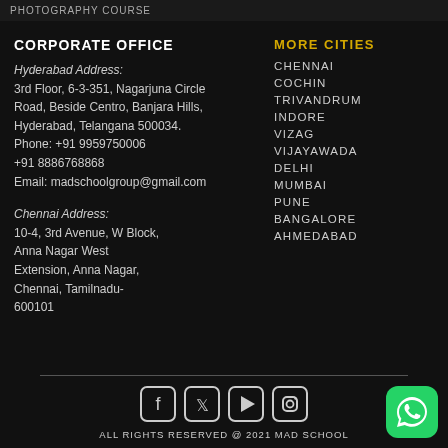PHOTOGRAPHY COURSE
CORPORATE OFFICE
Hyderabad Address:
3rd Floor, 6-3-351, Nagarjuna Circle Road, Beside Centro, Banjara Hills, Hyderabad, Telangana 500034.
Phone: +91 9959750006
+91 8886768868
Email: madschoolgroup@gmail.com
Chennai Address:
10-4, 3rd Avenue, W Block, Anna Nagar West Extension, Anna Nagar, Chennai, Tamilnadu- 600101
MORE CITIES
CHENNAI
COCHIN
TRIVANDRUM
INDORE
VIZAG
VIJAYAWADA
DELHI
MUMBAI
PUNE
BANGALORE
AHMEDABAD
[Figure (infographic): Social media icons: Facebook, Twitter, YouTube, Instagram in rounded square boxes]
ALL RIGHTS RESERVED @ 2021 MAD SCHOOL